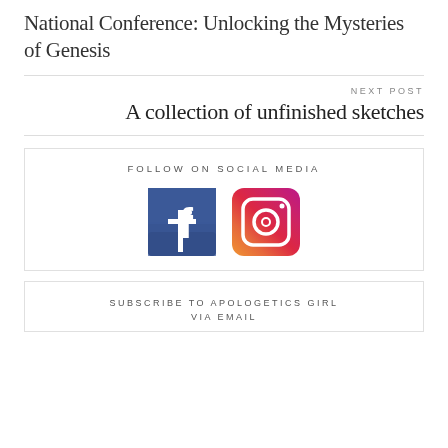National Conference: Unlocking the Mysteries of Genesis
NEXT POST
A collection of unfinished sketches
[Figure (infographic): FOLLOW ON SOCIAL MEDIA heading with Facebook and Instagram icons side by side]
SUBSCRIBE TO APOLOGETICS GIRL VIA EMAIL